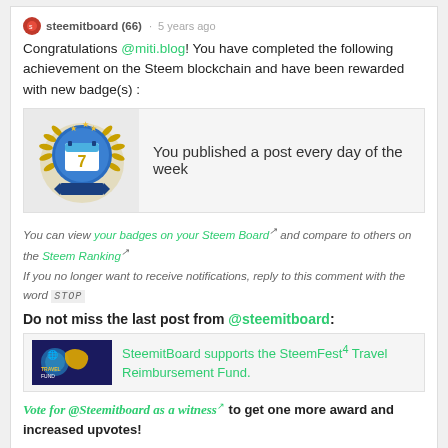steemitboard (66) · 5 years ago
Congratulations @miti.blog! You have completed the following achievement on the Steem blockchain and have been rewarded with new badge(s) :
[Figure (illustration): Gold badge with blue calendar showing number 7, surrounded by laurel wreath and gold stars — achievement badge for posting every day of the week]
You published a post every day of the week
You can view your badges on your Steem Board and compare to others on the Steem Ranking
If you no longer want to receive notifications, reply to this comment with the word STOP
Do not miss the last post from @steemitboard:
[Figure (illustration): SteemFest Travel Fund banner image with globe and bird logo]
SteemitBoard supports the SteemFest⁴ Travel Reimbursement Fund.
Vote for @Steemitboard as a witness to get one more award and increased upvotes!
$ 0.00   Reply